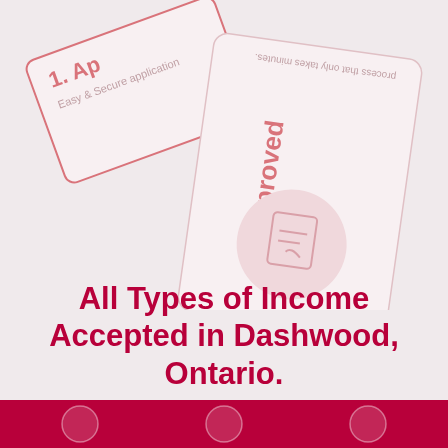[Figure (illustration): Two overlapping cards/panels. Card 1 (top-left, rotated ~-20deg): red border, text '1. Ap...' and 'Easy & Secure application'. Card 2 (center-right, rotated ~8deg): light border, 'Approved' text vertically, 'process that only takes minutes.' text, and a pink circle with a document/signature icon.]
All Types of Income Accepted in Dashwood, Ontario.
[Figure (illustration): Dark red/maroon footer bar with three circular icon placeholders.]